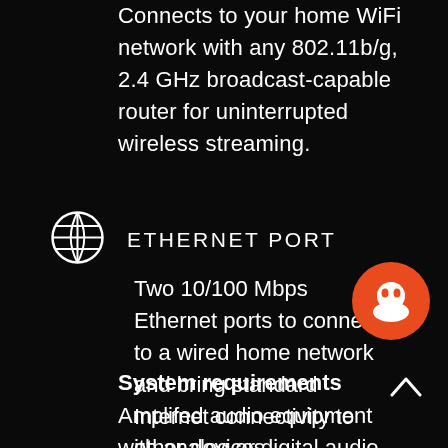Connects to your home WiFi network with any 802.11b/g, 2.4 GHz broadcast-capable router for uninterrupted wireless streaming.
[Figure (illustration): Globe/network icon representing Ethernet connectivity]
ETHERNET PORT
Two 10/100 Mbps Ethernet ports to connect to a wired home network and bring standard Internet connectivity to other devices.
[Figure (logo): Orange circular badge with white alien/robot face icon]
System requirements
Amplifed audio equipment with analog or digital audio output.